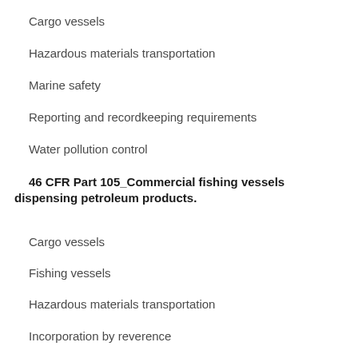Cargo vessels
Hazardous materials transportation
Marine safety
Reporting and recordkeeping requirements
Water pollution control
46 CFR Part 105_Commercial fishing vessels dispensing petroleum products.
Cargo vessels
Fishing vessels
Hazardous materials transportation
Incorporation by reverence